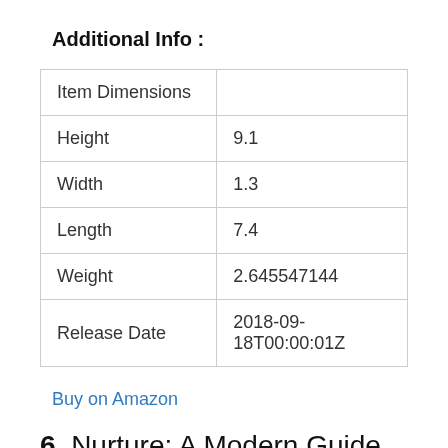Additional Info :
| Item Dimensions |  |
| Height | 9.1 |
| Width | 1.3 |
| Length | 7.4 |
| Weight | 2.645547144 |
| Release Date | 2018-09-18T00:00:01Z |
Buy on Amazon
6. Nurture: A Modern Guide to Pregnancy, Birth, Early